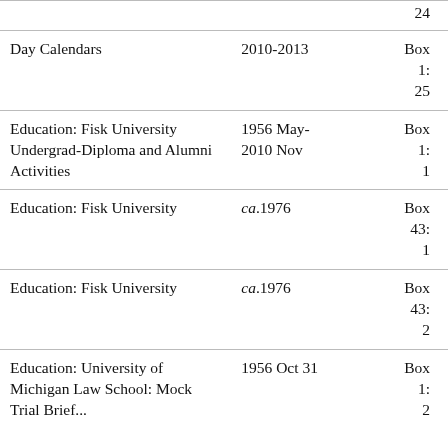| Item | Date | Location |
| --- | --- | --- |
|  |  | 24 |
| Day Calendars | 2010-2013 | Box 1: 25 |
| Education: Fisk University Undergrad-Diploma and Alumni Activities | 1956 May-2010 Nov | Box 1: 1 |
| Education: Fisk University | ca.1976 | Box 43: 1 |
| Education: Fisk University | ca.1976 | Box 43: 2 |
| Education: University of Michigan Law School: Mock Trial Brief... | 1956 Oct 31 | Box 1: 2 |